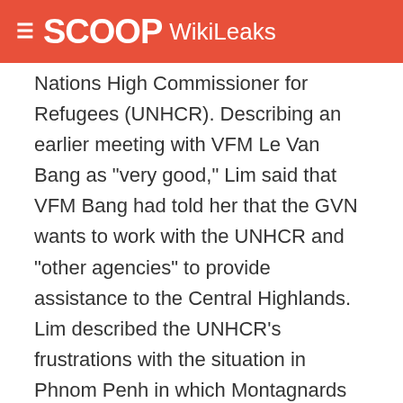SCOOP WikiLeaks
Nations High Commissioner for Refugees (UNHCR). Describing an earlier meeting with VFM Le Van Bang as "very good," Lim said that VFM Bang had told her that the GVN wants to work with the UNHCR and "other agencies" to provide assistance to the Central Highlands. Lim described the UNHCR's frustrations with the situation in Phnom Penh in which Montagnards selected for resettlement neither want to accept resettlement nor return to Vietnam. The UNHCR is asking the